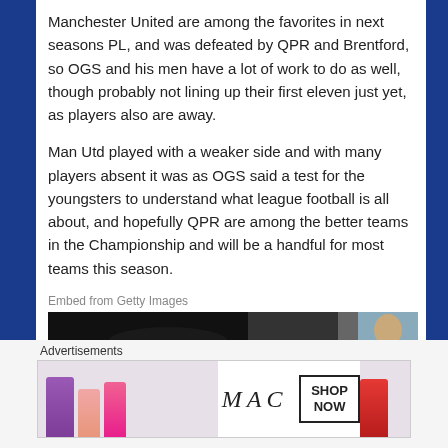Manchester United are among the favorites in next seasons PL, and was defeated by QPR and Brentford, so OGS and his men have a lot of work to do as well, though probably not lining up their first eleven just yet, as players also are away.
Man Utd played with a weaker side and with many players absent it was as OGS said a test for the youngsters to understand what league football is all about, and hopefully QPR are among the better teams in the Championship and will be a handful for most teams this season.
Embed from Getty Images
[Figure (photo): Dark sports/football photo strip with player face visible on right side]
Advertisements
[Figure (illustration): MAC cosmetics advertisement banner with lipsticks and SHOP NOW box]